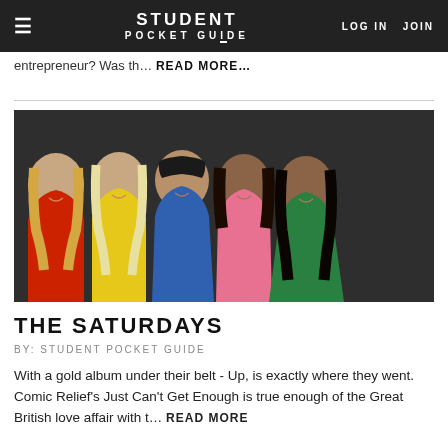STUDENT POCKET GUIDE  LOG IN  JOIN
entrepreneur? Was th…  READ MORE…
[Figure (photo): Five young women (The Saturdays) posing together, wearing colorful outfits (red, yellow, blue, pink, green) against a dark background.]
THE SATURDAYS
BY: STUDENT POCKET GUIDE
With a gold album under their belt - Up, is exactly where they went. Comic Relief's Just Can't Get Enough is true enough of the Great British love affair with t… READ MORE